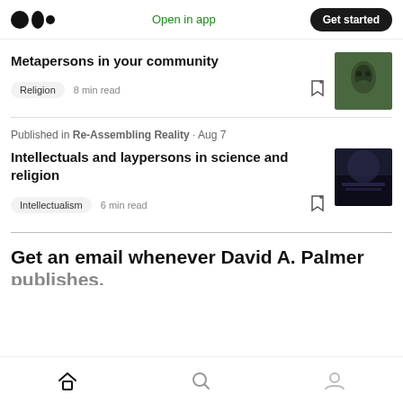Medium logo | Open in app | Get started
Metapersons in your community
Religion  8 min read
Published in Re-Assembling Reality · Aug 7
Intellectuals and laypersons in science and religion
Intellectualism  6 min read
Get an email whenever David A. Palmer
Home | Search | Profile